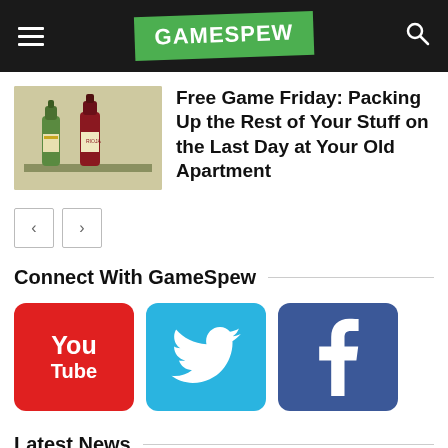GAMESPEW
[Figure (photo): Thumbnail image of two bottles (wine/drinks) on a shelf, 3D illustrated style]
Free Game Friday: Packing Up the Rest of Your Stuff on the Last Day at Your Old Apartment
[Figure (other): Navigation arrows: left chevron and right chevron buttons]
Connect With GameSpew
[Figure (logo): YouTube logo icon (red rounded square with You Tube text)]
[Figure (logo): Twitter logo icon (light blue rounded square with bird)]
[Figure (logo): Facebook logo icon (dark blue rounded square with f)]
Latest News
[Figure (photo): Partial news thumbnail image left (blue/red scene)]
[Figure (photo): Partial news thumbnail image right (scoreboard/game UI style)]